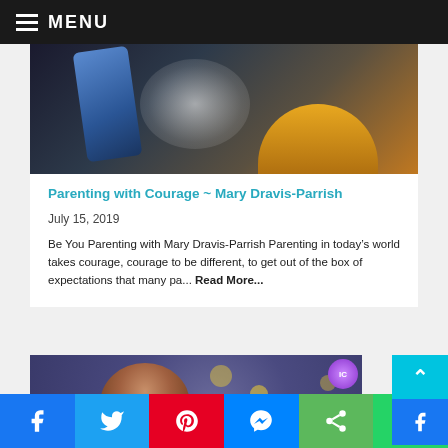MENU
[Figure (photo): Hands wringing out a wet blue cloth over a steaming pot or bowl, dark background with yellow/orange elements visible]
Parenting with Courage ~ Mary Dravis-Parrish
July 15, 2019
Be You Parenting with Mary Dravis-Parrish Parenting in today’s world takes courage, courage to be different, to get out of the box of expectations that many pa... Read More...
[Figure (photo): Portrait of a woman with short brown hair against a bokeh background with yellow/gold light circles, IC logo visible in top right corner]